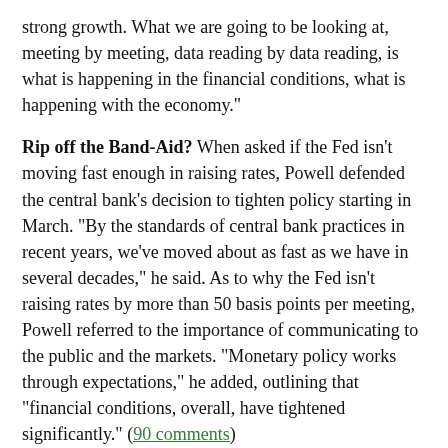strong growth. What we are going to be looking at, meeting by meeting, data reading by data reading, is what is happening in the financial conditions, what is happening with the economy."
Rip off the Band-Aid? When asked if the Fed isn't moving fast enough in raising rates, Powell defended the central bank's decision to tighten policy starting in March. "By the standards of central bank practices in recent years, we've moved about as fast as we have in several decades," he said. As to why the Fed isn't raising rates by more than 50 basis points per meeting, Powell referred to the importance of communicating to the public and the markets. "Monetary policy works through expectations," he added, outlining that "financial conditions, overall, have tightened significantly." (90 comments)
Keep those prices rollin'
First quarter results from Walmart (WMT) rattled the retail sector on Tuesday, with a slew of other chains set to report